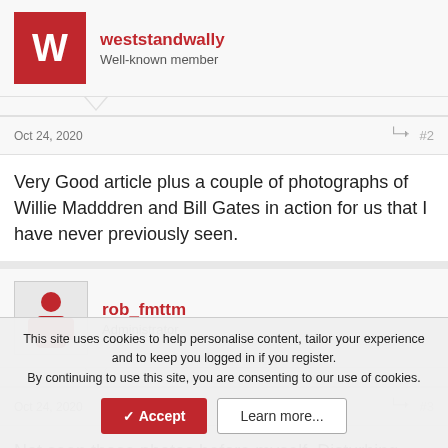weststandwally
Well-known member
Oct 24, 2020
#2
Very Good article plus a couple of photographs of Willie Madddren and Bill Gates in action for us that I have never previously seen.
rob_fmttm
Administrator
Oct 24, 2020
#3
Not seen those photos before myself. Disturbing article. I know
This site uses cookies to help personalise content, tailor your experience and to keep you logged in if you register.
By continuing to use this site, you are consenting to our use of cookies.